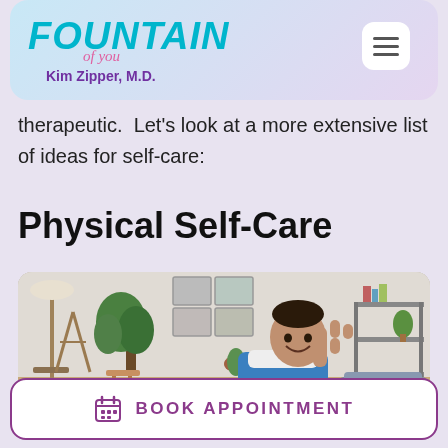Fountain of You — Kim Zipper, M.D.
therapeutic.  Let's look at a more extensive list of ideas for self-care:
Physical Self-Care
[Figure (photo): A smiling man sitting on a yoga mat indoors, wearing a blue shirt with a white towel around his neck, waving at the camera. Indoor plants, framed pictures on wall, and a shelf with items in the background.]
BOOK APPOINTMENT